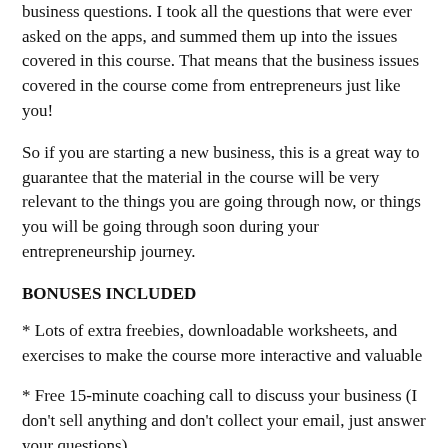business questions. I took all the questions that were ever asked on the apps, and summed them up into the issues covered in this course. That means that the business issues covered in the course come from entrepreneurs just like you!
So if you are starting a new business, this is a great way to guarantee that the material in the course will be very relevant to the things you are going through now, or things you will be going through soon during your entrepreneurship journey.
BONUSES INCLUDED
* Lots of extra freebies, downloadable worksheets, and exercises to make the course more interactive and valuable
* Free 15-minute coaching call to discuss your business (I don't sell anything and don't collect your email, just answer your questions)